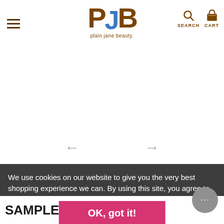plain jane beauty. SEARCH CART
[Figure (screenshot): Product image slider area with left and right navigation arrows]
We use cookies on our website to give you the very best shopping experience we can. By using this site, you agree to its use of cookies.
OK, got it!
SAMPLE - Fo... Stick